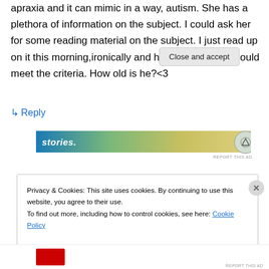apraxia and it can mimic in a way, autism. She has a plethora of information on the subject. I could ask her for some reading material on the subject. I just read up on it this morning,ironically and he does seem he could meet the criteria. How old is he?<3
↳ Reply
[Figure (screenshot): Advertisement banner with gradient background showing text 'stories.' and a circular icon on the right]
REPORT THIS AD
Privacy & Cookies: This site uses cookies. By continuing to use this website, you agree to their use.
To find out more, including how to control cookies, see here: Cookie Policy
Close and accept